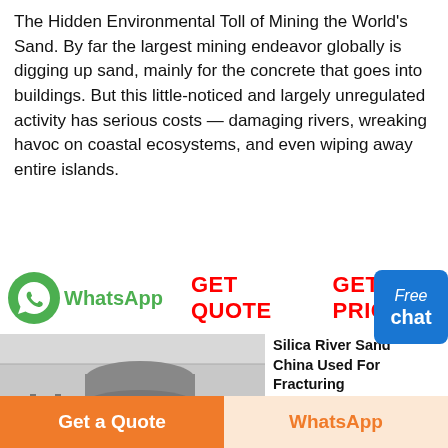The Hidden Environmental Toll of Mining the World's Sand. By far the largest mining endeavor globally is digging up sand, mainly for the concrete that goes into buildings. But this little-noticed and largely unregulated activity has serious costs — damaging rivers, wreaking havoc on coastal ecosystems, and even wiping away entire islands.
[Figure (screenshot): WhatsApp icon with green circle and phone logo, text 'WhatsApp' in green, and red bold 'GET QUOTE  GET PRICE' buttons, with a customer service representative image and a blue 'Free chat' button]
[Figure (photo): Industrial sand mining or crushing machine — large grey and orange industrial equipment with ladders and structural framework]
Silica River Sand China Used For Fracturing
Silica River Sand China Used For Fracturing. China silica
Get a Quote
WhatsApp